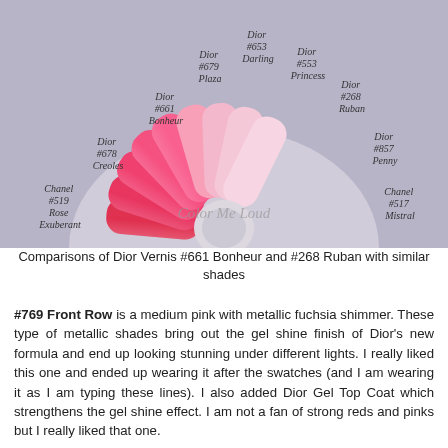[Figure (photo): A fan-shaped nail polish swatch holder displaying approximately 11 nail tips in shades ranging from hot coral/red on the left to soft blush pink on the right. Each swatch is labeled in italic script with brand and shade info: Chanel #519 Rose Exuberant, Dior #678 Creoles, Dior #661 Bonheur, Dior #679 Plaza, Dior #653 Darling, Dior #553 Princess, Dior #268 Ruban, Dior #857 Penny, Chanel #517 Mistral. The background is lavender-grey. A watermark reads 'Color Me Loud'.]
Comparisons of Dior Vernis #661 Bonheur and #268 Ruban with similar shades
#769 Front Row is a medium pink with metallic fuchsia shimmer. These type of metallic shades bring out the gel shine finish of Dior's new formula and end up looking stunning under different lights. I really liked this one and ended up wearing it after the swatches (and I am wearing it as I am typing these lines). I also added Dior Gel Top Coat which strengthens the gel shine effect. I am not a fan of strong reds and pinks but I really liked that one.